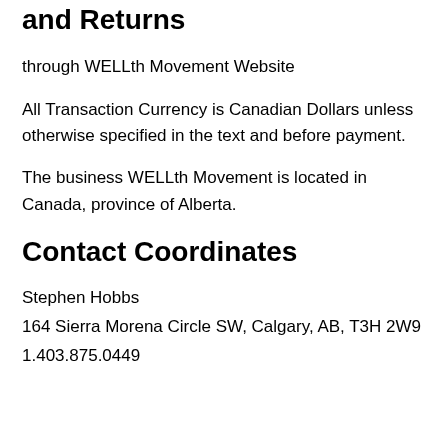and Returns
through WELLth Movement Website
All Transaction Currency is Canadian Dollars unless otherwise specified in the text and before payment.
The business WELLth Movement is located in Canada, province of Alberta.
Contact Coordinates
Stephen Hobbs
164 Sierra Morena Circle SW, Calgary, AB, T3H 2W9
1.403.875.0449